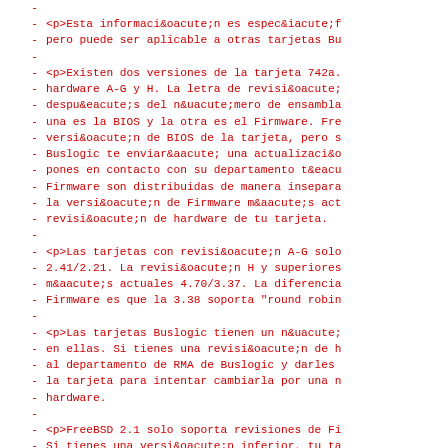-
- <p>Esta informaci&oacute;n es espec&iacute;f
- pero puede ser aplicable a otras tarjetas Bu
-
- <p>Existen dos versiones de la tarjeta 742a.
- hardware A-G y H. La letra de revisi&oacute;
- despu&eacute;s del n&uacute;mero de ensambla
- una es la BIOS y la otra es el Firmware. Fre
- versi&oacute;n de BIOS de la tarjeta, pero s
- Buslogic te enviar&aacute; una actualizaci&o
- pones en contacto con su departamento t&eacu
- Firmware son distribuidas de manera insepara
- la versi&oacute;n de Firmware m&aacute;s act
- revisi&oacute;n de hardware de tu tarjeta.
-
- <p>Las tarjetas con revisi&oacute;n A-G solo
- 2.41/2.21. La revisi&oacute;n H y superiores
- m&aacute;s actuales 4.70/3.37. La diferencia
- Firmware es que la 3.38 soporta "round robin
-
- <p>Las tarjetas Buslogic tienen un n&uacute;
- en ellas. Si tienes una revisi&oacute;n de h
- al departamento de RMA de Buslogic y darles
- la tarjeta para intentar cambiarla por una n
- hardware.
-
- <p>FreeBSD 2.1 solo soporta revisiones de Fi
- Si tienes una versi&oacute;n inferior, tu ta
- reconocida como Buslogic. Quiz&aacute;s sea
- 1540. Las primeras versiones de Firmware de